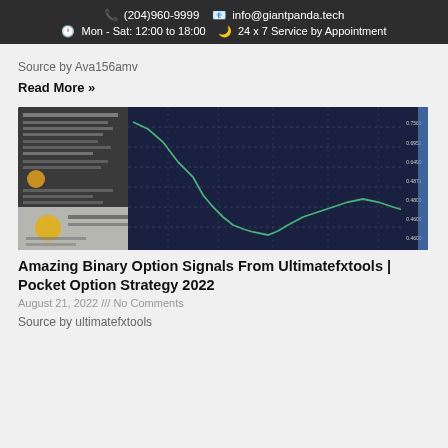📞 (204)960-9999  📧 info@giantpanda.tech  🕐 Mon - Sat: 12:00 to 18:00  🌙 24 x 7 Service by Appointment
Source by Ava156amv
Read More »
[Figure (screenshot): Screenshot of a trading platform showing a candlestick/line chart with a steep downward trend, alongside a software panel with settings and a notification popup at the bottom.]
Amazing Binary Option Signals From Ultimatefxtools | Pocket Option Strategy 2022
August 21, 2022 /// No Comments
Source by ultimatefxtools